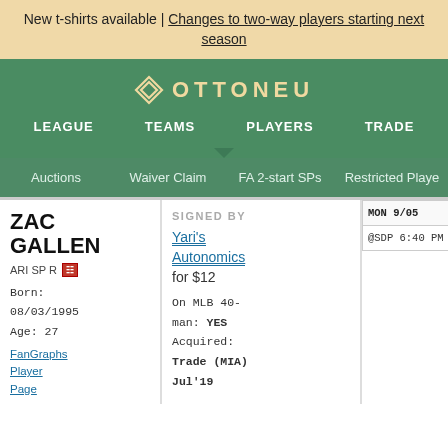New t-shirts available | Changes to two-way players starting next season
[Figure (logo): Ottoneu logo with diamond-shaped icon and OTTONEU text]
LEAGUE   TEAMS   PLAYERS   TRADE
Auctions   Waiver Claim   FA 2-start SPs   Restricted Players
ZAC GALLEN
ARI SP R
Born: 08/03/1995
Age: 27
FanGraphs Player Page
SIGNED BY
Yari's Autonomics
for $12
On MLB 40-man: YES
Acquired: Trade (MIA) Jul'19
| MON 9/05 | TUE 9/06 | WED |
| --- | --- | --- |
| @SDP 6:40 PM EDT | @SDP 9:40 PM EDT | @SDP |